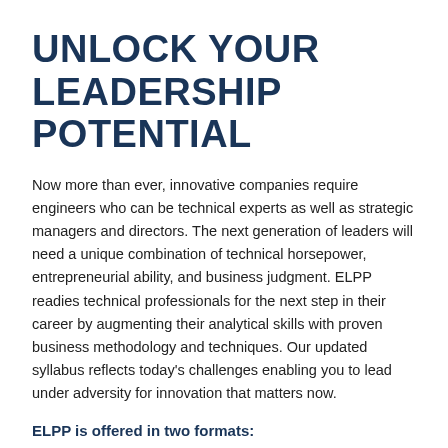UNLOCK YOUR LEADERSHIP POTENTIAL
Now more than ever, innovative companies require engineers who can be technical experts as well as strategic managers and directors. The next generation of leaders will need a unique combination of technical horsepower, entrepreneurial ability, and business judgment. ELPP readies technical professionals for the next step in their career by augmenting their analytical skills with proven business methodology and techniques. Our updated syllabus reflects today's challenges enabling you to lead under adversity for innovation that matters now.
ELPP is offered in two formats:
ELPP Silicon Valley In-Person (this page) in the